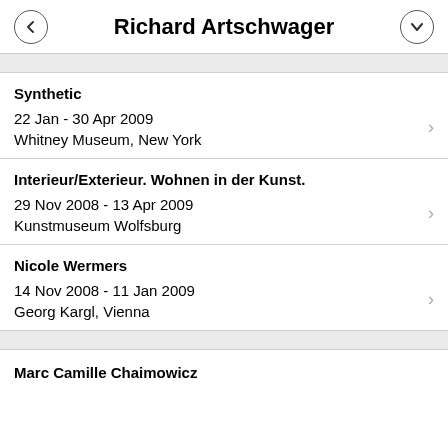Richard Artschwager
Synthetic
22 Jan - 30 Apr 2009
Whitney Museum, New York
Interieur/Exterieur. Wohnen in der Kunst.
29 Nov 2008 - 13 Apr 2009
Kunstmuseum Wolfsburg
Nicole Wermers
14 Nov 2008 - 11 Jan 2009
Georg Kargl, Vienna
Marc Camille Chaimowicz